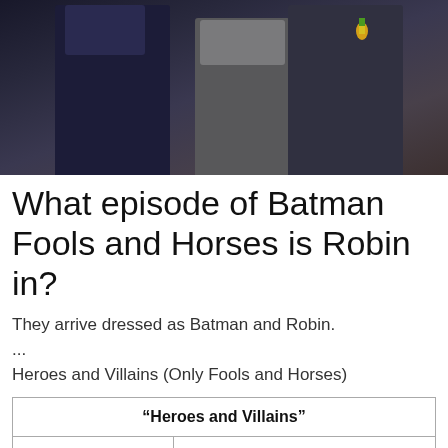[Figure (photo): Three people standing together, one on the right wearing a medal with yellow and green ribbon.]
What episode of Batman Fools and Horses is Robin in?
They arrive dressed as Batman and Robin.
...
Heroes and Villains (Only Fools and Horses)
| “Heroes and Villains” |
| --- |
| Episode nos. | Episodes 13 (Christmas Special) |
| Directed by | Tony Dow |